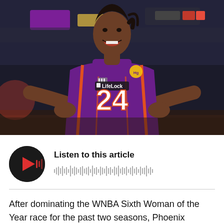[Figure (photo): A WNBA basketball player wearing Phoenix Mercury purple jersey number 24 with LifeLock sponsor, smiling with hands on hips, standing in an arena]
[Figure (infographic): Audio player widget: dark circular play button with red triangle and sound bars icon, text 'Listen to this article' and waveform bars below]
After dominating the WNBA Sixth Woman of the Year race for the past two seasons, Phoenix Mercury